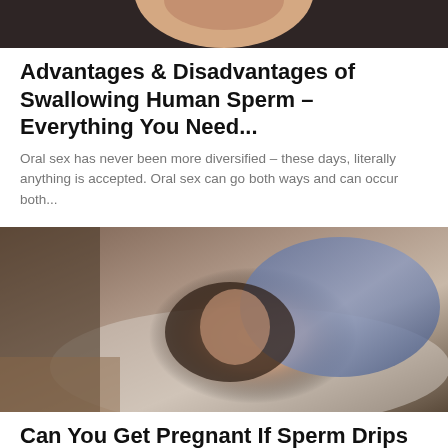[Figure (photo): Partial photo of a woman with dark hair and hoop earrings, cropped at top of page]
Advantages & Disadvantages of Swallowing Human Sperm – Everything You Need...
Oral sex has never been more diversified – these days, literally anything is accepted. Oral sex can go both ways and can occur both...
[Figure (photo): Photo of a young woman with dark hair lying on a bed wearing a blue floral dress, looking at camera]
Can You Get Pregnant If Sperm Drips Down